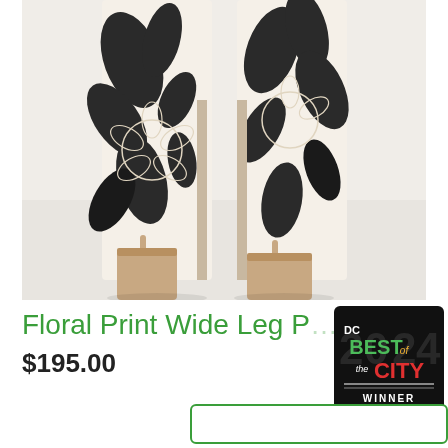[Figure (photo): Close-up product photo of floral print wide-leg pants with side slit, worn with nude block-heeled sandals, against a white background. The pants feature a cream/beige base with large black tropical floral print.]
Floral Print Wide Leg P...
$195.00
[Figure (logo): DC Best of the City Winner badge — black square badge with colorful text reading 'DC BEST of the CITY WINNER' in green, yellow, red, and white colors, with stylized year numbers in the background.]
[Figure (other): Partial view of a green-bordered Add to Cart button at the bottom right of the page.]